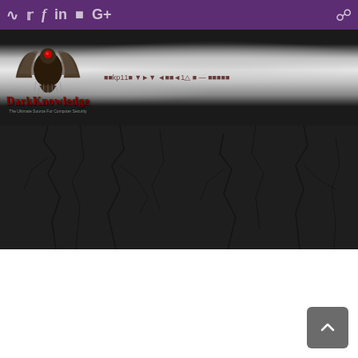Social icons bar with RSS, Twitter, Facebook, LinkedIn, Bookmark, Google+ icons and search icon
[Figure (screenshot): DarkKnowledgeDark website header banner with phoenix/eagle logo, site title DarkKnowledge in dark red, subtitle The Ultimate Source For Computer Security, smoke/wave background, navigation menu items]
[Figure (photo): Dark cracked grunge texture background, dark grayish-black with crack patterns throughout]
[Figure (other): Scroll-to-top button in gray with upward chevron arrow, positioned bottom right]